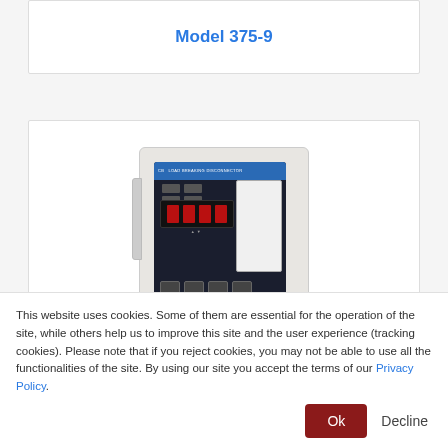Model 375-9
[Figure (photo): White wall-mounted industrial controller unit (Model 375-9) with dark front panel showing red LED display, control buttons, and a white paper/card holder on the right side.]
This website uses cookies. Some of them are essential for the operation of the site, while others help us to improve this site and the user experience (tracking cookies). Please note that if you reject cookies, you may not be able to use all the functionalities of the site. By using our site you accept the terms of our Privacy Policy.